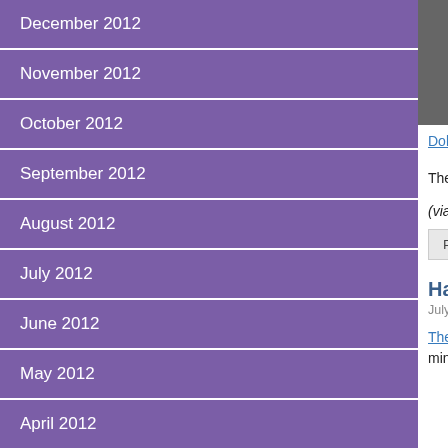December 2012
November 2012
October 2012
September 2012
August 2012
July 2012
June 2012
May 2012
April 2012
March 2012
February 2012
January 2012
December 2011
November 2011
October 2011
[Figure (photo): Black and white photo of babies/infant faces close up]
Dobby, Lupin and most particularly Voldemort looked exactly like what you'd hit with a stick if you found it lurking in the cellar.
They aren't cheap, but if you simply can't live without your very own Severus Snape, now's your chance.
(via io9)
Posted in Needful Things | 4 Comments »
Harry Potter in 7 Minutes
July 19th, 2011 by Cobwebs
The Fine Brothers, who somehow managed to encapsulate all of Star Wars in 2 minutes, are back with a (spoileriffic, obvs) recap of Harry Potter in 7 minutes. I think what's most impressive about this is that it's still comprehensible.